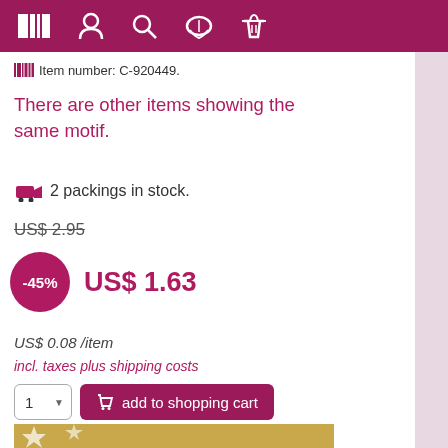Navigation bar with logo, account, search, chat, and cart icons
Item number: C-920449.
There are other items showing the same motif.
2 packings in stock.
US$ 2.95
-45% US$ 1.63
US$ 0.08 /item
incl. taxes plus shipping costs
1 ▾  add to shopping cart
[Figure (photo): Gold napkin with white star pattern visible at the bottom of the page]